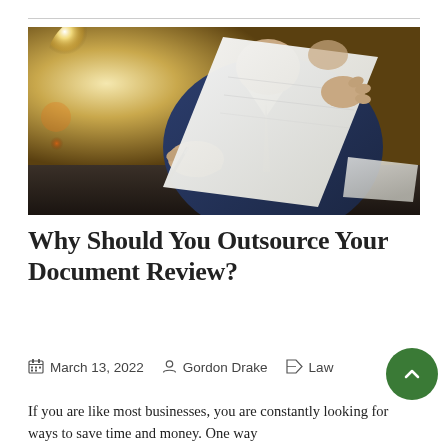[Figure (photo): A man in a suit holding and reviewing a paper document, with a pen in hand, sitting at a desk. Warm bokeh background lighting.]
Why Should You Outsource Your Document Review?
March 13, 2022   Gordon Drake   Law
If you are like most businesses, you are constantly looking for ways to save time and money. One way